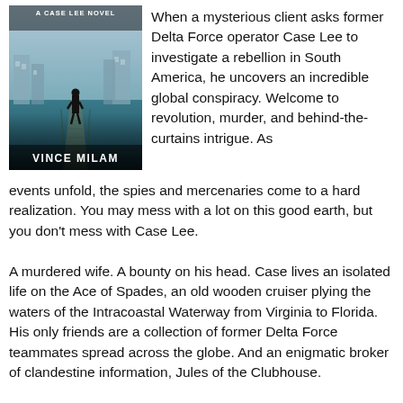[Figure (illustration): Book cover for a Case Lee Novel by Vince Milam. Shows a silhouetted figure walking on a pier or boardwalk toward water, with buildings in the background. Title text 'A CASE LEE NOVEL' at the top and 'VINCE MILAM' at the bottom of the cover.]
When a mysterious client asks former Delta Force operator Case Lee to investigate a rebellion in South America, he uncovers an incredible global conspiracy. Welcome to revolution, murder, and behind-the-curtains intrigue. As events unfold, the spies and mercenaries come to a hard realization. You may mess with a lot on this good earth, but you don't mess with Case Lee.
A murdered wife. A bounty on his head. Case lives an isolated life on the Ace of Spades, an old wooden cruiser plying the waters of the Intracoastal Waterway from Virginia to Florida. His only friends are a collection of former Delta Force teammates spread across the globe. And an enigmatic broker of clandestine information, Jules of the Clubhouse.